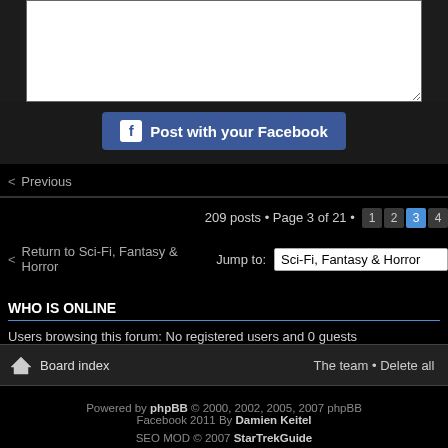[Figure (screenshot): White textarea input box (partially visible), bottom portion of a forum reply area]
Post with your Facebook
< Previous
209 posts • Page 3 of 21 • 1 2 3 4
< Return to Sci-Fi, Fantasy & Horror   Jump to: Sci-Fi, Fantasy & Horror
WHO IS ONLINE
Users browsing this forum: No registered users and 0 guests
Board index   The team • Delete all
Powered by phpBB © 2000, 2002, 2005, 2007 phpBB Facebook 2011 By Damien Keitel
SEO MOD © 2007 StarTrekGuide